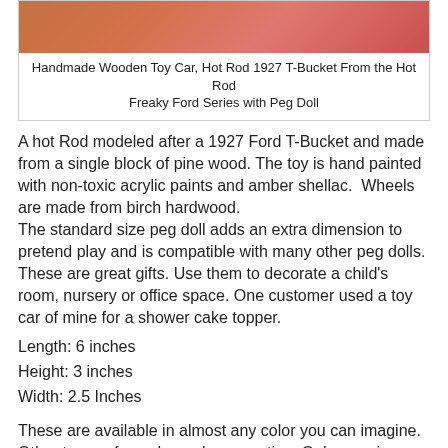[Figure (photo): Partial photo of a handmade wooden toy car hot rod with orange/red colors visible at top]
Handmade Wooden Toy Car, Hot Rod 1927 T-Bucket From the Hot Rod Freaky Ford Series with Peg Doll
A hot Rod modeled after a 1927 Ford T-Bucket and made from a single block of pine wood. The toy is hand painted with non-toxic acrylic paints and amber shellac.  Wheels are made from birch hardwood.
The standard size peg doll adds an extra dimension to pretend play and is compatible with many other peg dolls. These are great gifts. Use them to decorate a child's room, nursery or office space. One customer used a toy car of mine for a shower cake topper.
Length: 6 inches
Height: 3 inches
Width: 2.5 Inches
These are available in almost any color you can imagine. Other types of wood are also an option. Oak, premium pine and poplar hardwoods are readily available. Other hardwoods can be ordered. Custom orders are welcome and can be placed in my Etsy Shop